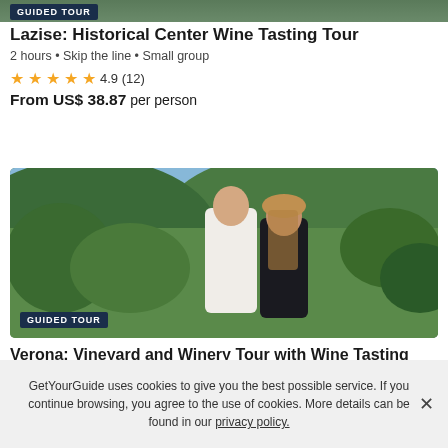[Figure (photo): Top portion of outdoor/nature photo (partial, cropped at top)]
GUIDED TOUR
Lazise: Historical Center Wine Tasting Tour
2 hours • Skip the line • Small group
★★★★★ 4.9 (12)
From US$ 38.87 per person
[Figure (photo): Two people (man in white shirt, woman in black top) standing in front of a lush green vineyard landscape]
GUIDED TOUR
Verona: Vineyard and Winery Tour with Wine Tasting
If you book your Tour & Activity within 24 hours of booking your easyJet flight you will purchase what is known as a Linked Travel Arrangement. This means
GetYourGuide uses cookies to give you the best possible service. If you continue browsing, you agree to the use of cookies. More details can be found in our privacy policy.